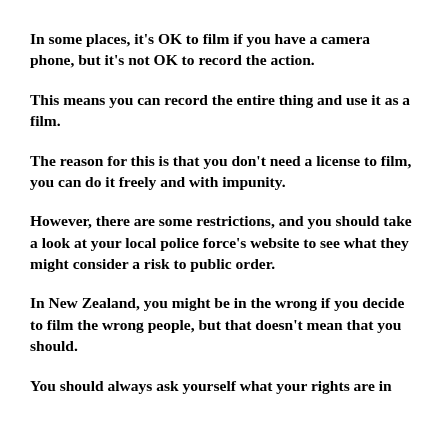In some places, it's OK to film if you have a camera phone, but it's not OK to record the action.
This means you can record the entire thing and use it as a film.
The reason for this is that you don't need a license to film, you can do it freely and with impunity.
However, there are some restrictions, and you should take a look at your local police force's website to see what they might consider a risk to public order.
In New Zealand, you might be in the wrong if you decide to film the wrong people, but that doesn't mean that you should.
You should always ask yourself what your rights are in